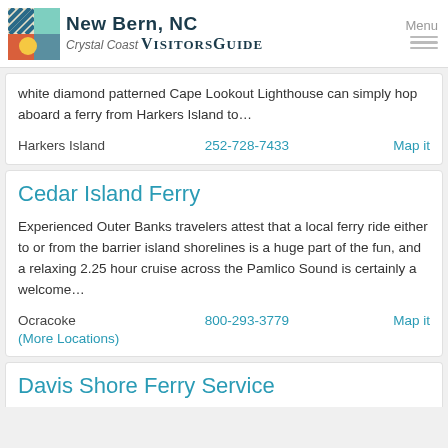New Bern, NC Crystal Coast Visitors Guide — Menu
white diamond patterned Cape Lookout Lighthouse can simply hop aboard a ferry from Harkers Island to…
Harkers Island   252-728-7433   Map it
Cedar Island Ferry
Experienced Outer Banks travelers attest that a local ferry ride either to or from the barrier island shorelines is a huge part of the fun, and a relaxing 2.25 hour cruise across the Pamlico Sound is certainly a welcome…
Ocracoke   800-293-3779   Map it
(More Locations)
Davis Shore Ferry Service